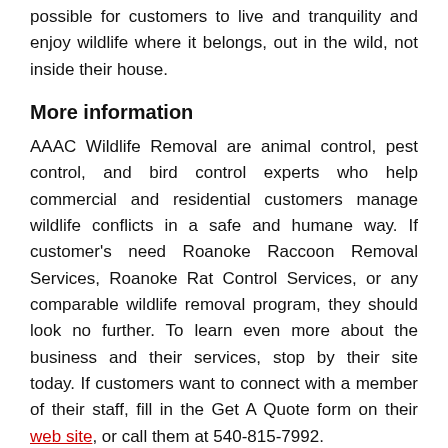possible for customers to live and tranquility and enjoy wildlife where it belongs, out in the wild, not inside their house.
More information
AAAC Wildlife Removal are animal control, pest control, and bird control experts who help commercial and residential customers manage wildlife conflicts in a safe and humane way. If customer's need Roanoke Raccoon Removal Services, Roanoke Rat Control Services, or any comparable wildlife removal program, they should look no further. To learn even more about the business and their services, stop by their site today. If customers want to connect with a member of their staff, fill in the Get A Quote form on their web site, or call them at 540-815-7992.
Media Contact
Company Name: AAAC Wildlife Removal
Contact Person: Ben Freeman
Email: Send Email